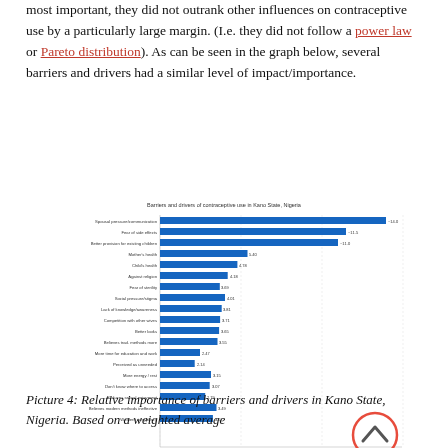most important, they did not outrank other influences on contraceptive use by a particularly large margin. (I.e. they did not follow a power law or Pareto distribution). As can be seen in the graph below, several barriers and drivers had a similar level of impact/importance.
[Figure (bar-chart): Barriers and drivers of contraceptive use in Kano State, Nigeria]
Picture 4: Relative importance of barriers and drivers in Kano State, Nigeria. Based on a weighted average